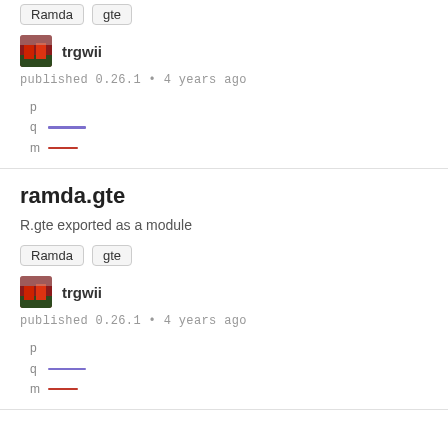Ramda  gte
trgwii
published 0.26.1 • 4 years ago
[Figure (infographic): p q m legend with blue and red horizontal lines]
ramda.gte
R.gte exported as a module
Ramda  gte
trgwii
published 0.26.1 • 4 years ago
[Figure (infographic): p q m legend with blue and red horizontal lines]